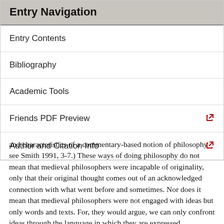Entry Navigation
Entry Contents
Bibliography
Academic Tools
Friends PDF Preview
Author and Citation Info
and characteristics of a commentary-based notion of philosophy see Smith 1991, 3-7.) These ways of doing philosophy do not mean that medieval philosophers were incapable of originality, only that their original thought comes out of an acknowledged connection with what went before and sometimes. Nor does it mean that medieval philosophers were not engaged with ideas but only words and texts. For, they would argue, we can only confront ideas through the language in which they are expressed.
2.5 Dialogue